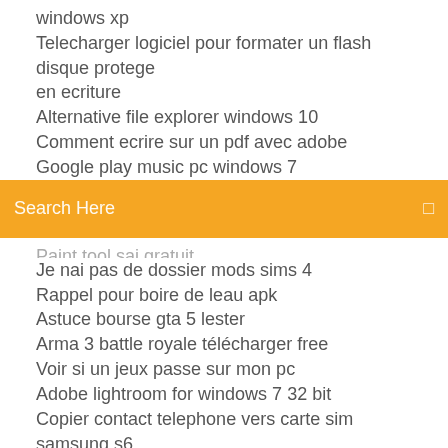windows xp
Telecharger logiciel pour formater un flash disque protege en ecriture
Alternative file explorer windows 10
Comment ecrire sur un pdf avec adobe
Google play music pc windows 7
Search Here
Paint tool sai gratuit
Je nai pas de dossier mods sims 4
Rappel pour boire de leau apk
Astuce bourse gta 5 lester
Arma 3 battle royale télécharger free
Voir si un jeux passe sur mon pc
Adobe lightroom for windows 7 32 bit
Copier contact telephone vers carte sim samsung s6
Harry potter chamber of secrets pc game télécharger
A la ligne cellule excel
Internet explorer 10 télécharger for mac